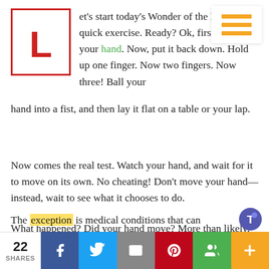[Figure (logo): Red letter L inside a red-bordered square — Wonderopolis logo]
et's start today's Wonder of the Day with a quick exercise. Ready? Ok, first, raise your hand. Now, put it back down. Hold up one finger. Now two fingers. Now three! Ball your hand into a fist, and then lay it flat on a table or your lap.
Now comes the real test. Watch your hand, and wait for it to move on its own. No cheating! Don't move your hand—instead, wait to see what it chooses to do.
What happened? Did your hand move? More than likely, no. After all, limbs rarely move on their own. The exception is medical conditions that can
[Figure (logo): Microsoft Teams purple icon]
22 SHARES | Facebook | Twitter | Email | Pinterest | Google+ | More